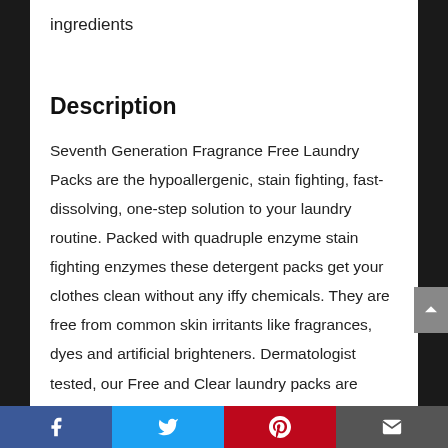ingredients
Description
Seventh Generation Fragrance Free Laundry Packs are the hypoallergenic, stain fighting, fast-dissolving, one-step solution to your laundry routine. Packed with quadruple enzyme stain fighting enzymes these detergent packs get your clothes clean without any iffy chemicals. They are free from common skin irritants like fragrances, dyes and artificial brighteners. Dermatologist tested, our Free and Clear laundry packs are
Facebook Twitter Pinterest Email